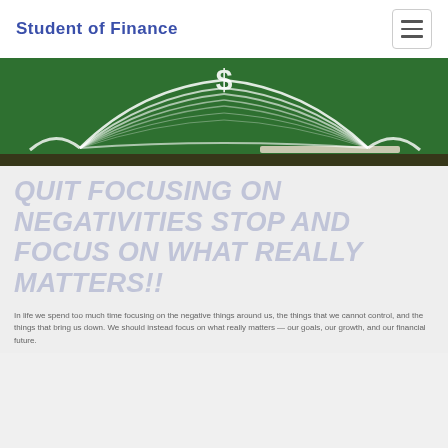Student of Finance
[Figure (illustration): Open book on a green chalkboard background with a dollar sign above it, white chalk-style illustration]
QUIT FOCUSING ON NEGATIVITIES STOP AND FOCUS ON WHAT REALLY MATTERS!!
Body text about focusing on what matters in finance and life, motivational content.